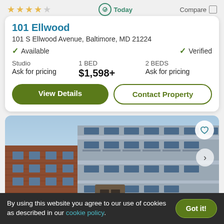101 Ellwood
101 S Ellwood Avenue, Baltimore, MD 21224
✓ Available   ✓ Verified
| Studio | 1 BED | 2 BEDS |
| --- | --- | --- |
| Ask for pricing | $1,598+ | Ask for pricing |
View Details | Contact Property
[Figure (photo): Exterior photo of a multi-story apartment building with brick and gray siding, blue sky background, navigation arrow on right, heart/favorite button top right]
By using this website you agree to our use of cookies as described in our cookie policy.
Got it!